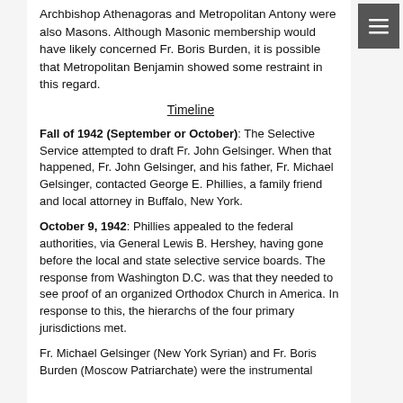Archbishop Athenagoras and Metropolitan Antony were also Masons. Although Masonic membership would have likely concerned Fr. Boris Burden, it is possible that Metropolitan Benjamin showed some restraint in this regard.
Timeline
Fall of 1942 (September or October): The Selective Service attempted to draft Fr. John Gelsinger. When that happened, Fr. John Gelsinger, and his father, Fr. Michael Gelsinger, contacted George E. Phillies, a family friend and local attorney in Buffalo, New York.
October 9, 1942: Phillies appealed to the federal authorities, via General Lewis B. Hershey, having gone before the local and state selective service boards. The response from Washington D.C. was that they needed to see proof of an organized Orthodox Church in America. In response to this, the hierarchs of the four primary jurisdictions met.
Fr. Michael Gelsinger (New York Syrian) and Fr. Boris Burden (Moscow Patriarchate) were the instrumental